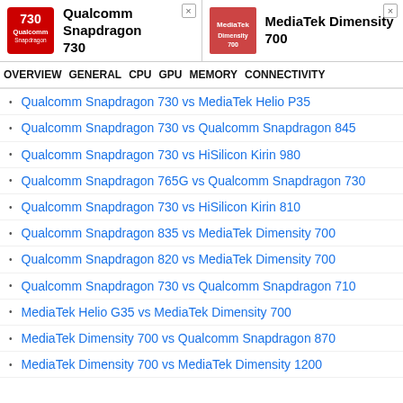Qualcomm Snapdragon 730 | MediaTek Dimensity 700
OVERVIEW  GENERAL  CPU  GPU  MEMORY  CONNECTIVITY
Qualcomm Snapdragon 730 vs MediaTek Helio P35
Qualcomm Snapdragon 730 vs Qualcomm Snapdragon 845
Qualcomm Snapdragon 730 vs HiSilicon Kirin 980
Qualcomm Snapdragon 765G vs Qualcomm Snapdragon 730
Qualcomm Snapdragon 730 vs HiSilicon Kirin 810
Qualcomm Snapdragon 835 vs MediaTek Dimensity 700
Qualcomm Snapdragon 820 vs MediaTek Dimensity 700
Qualcomm Snapdragon 730 vs Qualcomm Snapdragon 710
MediaTek Helio G35 vs MediaTek Dimensity 700
MediaTek Dimensity 700 vs Qualcomm Snapdragon 870
MediaTek Dimensity 700 vs MediaTek Dimensity 1200